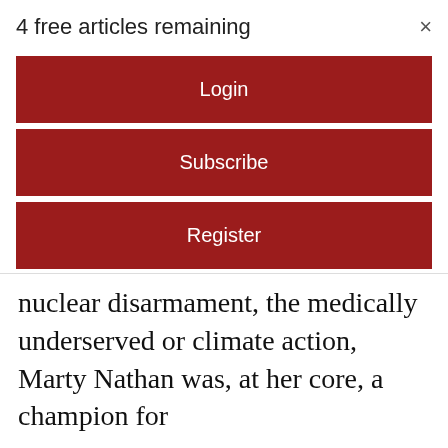4 free articles remaining
Login
Subscribe
Register
For seven additional free articles please register on the site. By registering you'll be opting in to receive our email newsletter and occasion promotions. You may opt out at any time.
nuclear disarmament, the medically underserved or climate action, Marty Nathan was, at her core, a champion for